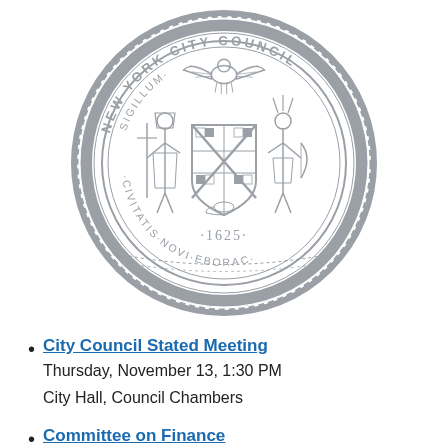[Figure (logo): New York City Council official seal/logo. Circular seal with eagle at top, two figures flanking a shield, text reading 'NEW YORK CITY COUNCIL' around the outer ring, 'SIGILLUM CIVITATIS NOVI EBORAC' and '1625' around the inner ring.]
City Council Stated Meeting
Thursday, November 13, 1:30 PM
City Hall, Council Chambers
Committee on Finance